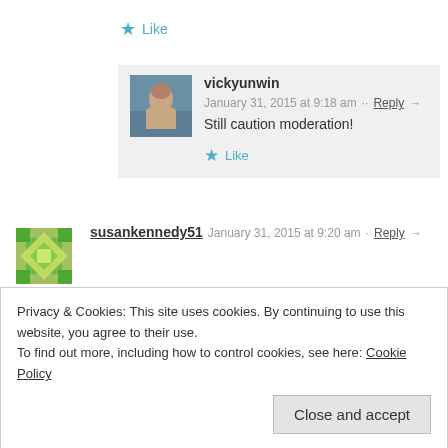★ Like
[Figure (photo): Profile photo of vickyunwin, a person at a beach]
vickyunwin   January 31, 2015 at 9:18 am ·· Reply →
Still caution moderation!
★ Like
[Figure (illustration): Geometric green and gray star/diamond avatar for susankennedy51]
susankennedy51   January 31, 2015 at 9:20 am · Reply →
Don't eat that much, sorry the point I was making is that according to the nutritionist at The Haven, a charity run for breast cancer patients, you don't have to cut it out completely.
★ Like
Privacy & Cookies: This site uses cookies. By continuing to use this website, you agree to their use.
To find out more, including how to control cookies, see here: Cookie Policy
Close and accept